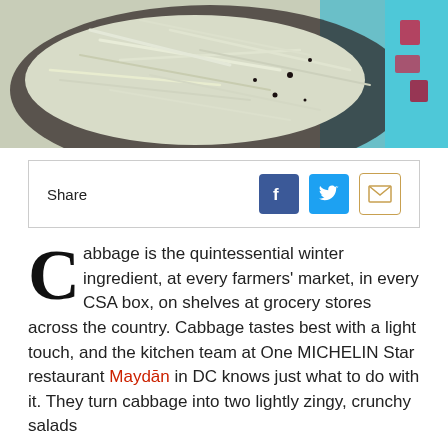[Figure (photo): Close-up photo of shredded cabbage in a dark bowl with a colorful tiled background visible on the right side]
Share [Facebook icon] [Twitter icon] [Email icon]
Cabbage is the quintessential winter ingredient, at every farmers' market, in every CSA box, on shelves at grocery stores across the country. Cabbage tastes best with a light touch, and the kitchen team at One MICHELIN Star restaurant Maydān in DC knows just what to do with it. They turn cabbage into two lightly zingy, crunchy salads